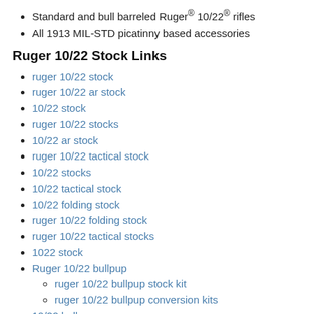Standard and bull barreled Ruger® 10/22® rifles
All 1913 MIL-STD picatinny based accessories
Ruger 10/22 Stock Links
ruger 10/22 stock
ruger 10/22 ar stock
10/22 stock
ruger 10/22 stocks
10/22 ar stock
ruger 10/22 tactical stock
10/22 stocks
10/22 tactical stock
10/22 folding stock
ruger 10/22 folding stock
ruger 10/22 tactical stocks
1022 stock
Ruger 10/22 bullpup
ruger 10/22 bullpup stock kit
ruger 10/22 bullpup conversion kits
10/22 bullpup